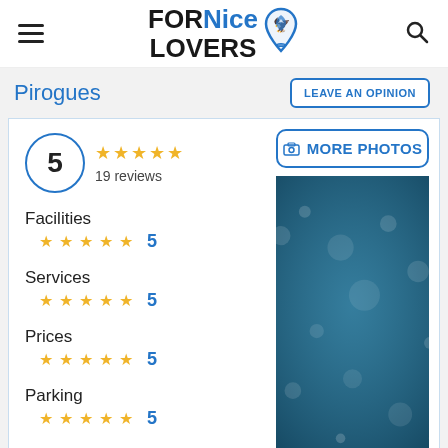FOR Nice LOVERS [logo]
Pirogues
LEAVE AN OPINION
5 — 19 reviews — 5 stars
Facilities ★★★★★ 5
Services ★★★★★ 5
Prices ★★★★★ 5
Parking ★★★★★ 5
Wifi ★★★★★ 5
[Figure (photo): Underwater photo with bubbles and blue tones]
MORE PHOTOS